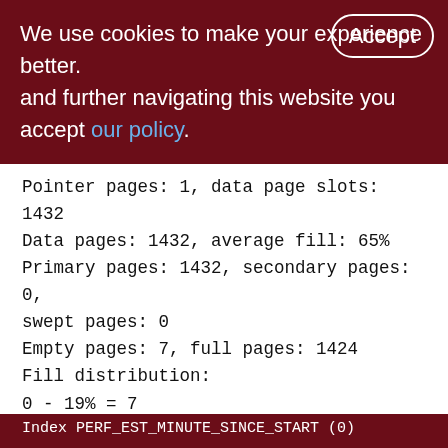We use cookies to make your experience better. By accepting and further navigating this website you accept our policy.
Pointer pages: 1, data page slots: 1432
Data pages: 1432, average fill: 65%
Primary pages: 1432, secondary pages: 0, swept pages: 0
Empty pages: 7, full pages: 1424
Fill distribution:
0 - 19% = 7
20 - 39% = 0
40 - 59% = 1
60 - 79% = 1424
80 - 99% = 0
Index PERF_EST_MINUTE_SINCE_START (0)